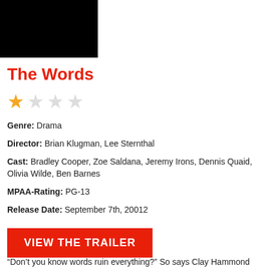[Figure (photo): Black movie poster/thumbnail image for The Words]
The Words
[Figure (other): Star rating: 1 out of 4 stars, first star filled gold, remaining three empty/gray]
Genre: Drama
Director: Brian Klugman, Lee Sternthal
Cast: Bradley Cooper, Zoe Saldana, Jeremy Irons, Dennis Quaid, Olivia Wilde, Ben Barnes
MPAA-Rating: PG-13
Release Date: September 7th, 20012
VIEW THE TRAILER
“Don’t you know words ruin everything?” So says Clay Hammond